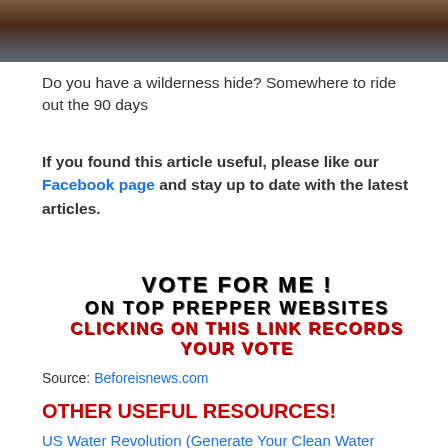[Figure (photo): Partial photo strip at top of page showing dark brown and blue tones, appears to be people or figures cropped]
Do you have a wilderness hide? Somewhere to ride out the 90 days
If you found this article useful, please like our Facebook page and stay up to date with the latest articles.
[Figure (infographic): Vote banner with text: VOTE FOR ME ! ON TOP PREPPER WEBSITES CLICKING ON THIS LINK RECORDS YOUR VOTE]
Source: Beforeisnews.com
OTHER USEFUL RESOURCES!
US Water Revolution (Generate Your Clean Water